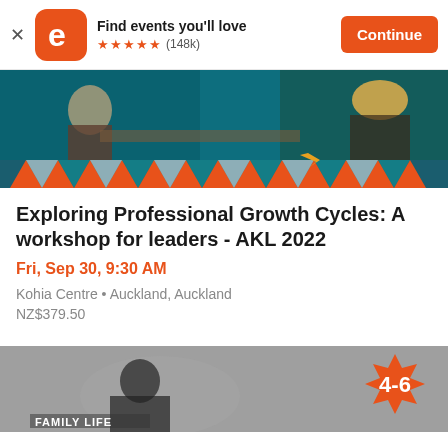[Figure (screenshot): App store banner with Eventbrite logo, 'Find events you'll love', 5 stars (148k), and Continue button]
[Figure (photo): Event banner image showing a person at a workshop with teal background and decorative triangle pattern border]
Exploring Professional Growth Cycles: A workshop for leaders - AKL 2022
Fri, Sep 30, 9:30 AM
Kohia Centre • Auckland, Auckland
NZ$379.50
[Figure (photo): Black and white photo of a person in a car with 'FAMILY LIFE' text and an orange badge showing '4-6']